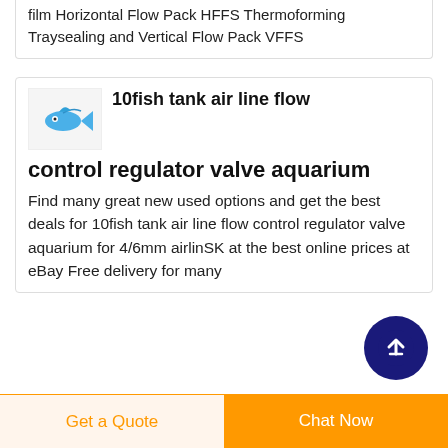film Horizontal Flow Pack HFFS Thermoforming Traysealing and Vertical Flow Pack VFFS
10fish tank air line flow control regulator valve aquarium
Find many great new used options and get the best deals for 10fish tank air line flow control regulator valve aquarium for 4/6mm airlinSK at the best online prices at eBay Free delivery for many